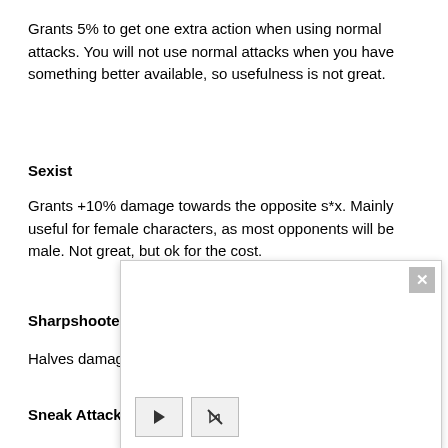Grants 5% to get one extra action when using normal attacks. You will not use normal attacks when you have something better available, so usefulness is not great.
Sexist
Grants +10% damage towards the opposite s*x. Mainly useful for female characters, as most opponents will be male. Not great, but ok for the cost.
Sharpshooter (
Halves damage
Sneak Attack
[Figure (screenshot): A modal/popup overlay with a close button (×) in the top-right corner, and two control buttons at the bottom-left: a play button (triangle) and a mute/camera-off button.]